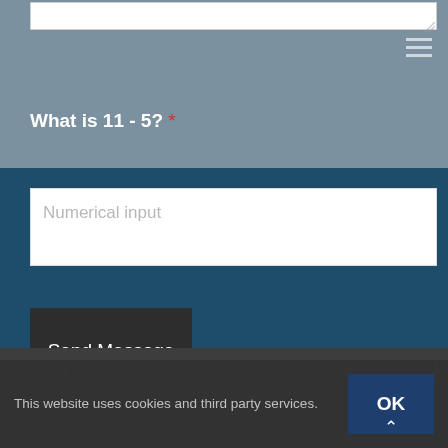[Figure (screenshot): Top grey section with a white textarea stub at top and hamburger menu icon on right]
What is 11 - 5? *
[Figure (screenshot): White input field with placeholder text 'Numerical input' on dark blue background]
Numerical input
[Figure (screenshot): Dark grey button labeled 'Send Message']
Send Message
SERVICES
This website uses cookies and third party services.
OK